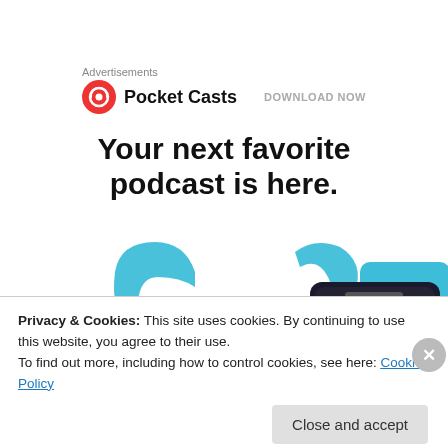Advertisements
[Figure (logo): Pocket Casts logo: red circle with white headphone/wave icon, followed by text 'Pocket Casts']
DOWNLOAD NOW
Your next favorite podcast is here.
[Figure (illustration): Partial illustration of smartphone with blue curved shapes/headphones in background]
Eileen Ehrmann on October 7, 2013 at 1:32 pm
Privacy & Cookies: This site uses cookies. By continuing to use this website, you agree to their use.
To find out more, including how to control cookies, see here: Cookie Policy
Close and accept